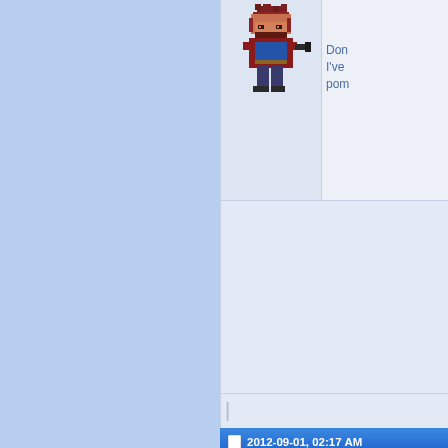[Figure (illustration): Pixel art character: a person with dark red hair, beard, wearing a red cape and blue outfit, holding a gun, walking pose]
Don
I've
pom
2012-09-01, 02:17 AM
Words
Donator
I wa
I do
to be
wha
My
2012-09-01, 02:28 AM
Jedward